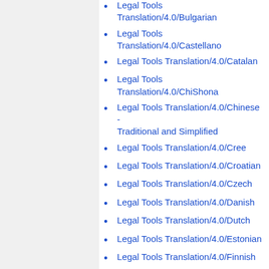Legal Tools Translation/4.0/Bulgarian
Legal Tools Translation/4.0/Castellano
Legal Tools Translation/4.0/Catalan
Legal Tools Translation/4.0/ChiShona
Legal Tools Translation/4.0/Chinese - Traditional and Simplified
Legal Tools Translation/4.0/Cree
Legal Tools Translation/4.0/Croatian
Legal Tools Translation/4.0/Czech
Legal Tools Translation/4.0/Danish
Legal Tools Translation/4.0/Dutch
Legal Tools Translation/4.0/Estonian
Legal Tools Translation/4.0/Finnish
Legal Tools Translation/4.0/French
Legal Tools Translation/4.0/German
Legal Tools Translation/4.0/Greek
Legal Tools Translation/4.0/Hindi
Legal Tools Translation/4.0/Hungarian